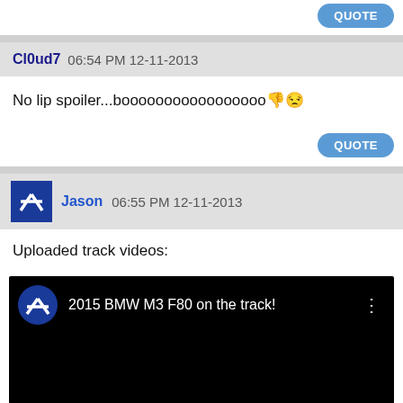QUOTE (top button)
Cl0ud7 06:54 PM 12-11-2013
No lip spoiler...booooooooooooooooo [thumbs down emoji] [smirk emoji]
QUOTE
Jason 06:55 PM 12-11-2013
Uploaded track videos:
[Figure (screenshot): Embedded video player showing '2015 BMW M3 F80 on the track!' with BMW M logo avatar on black background]